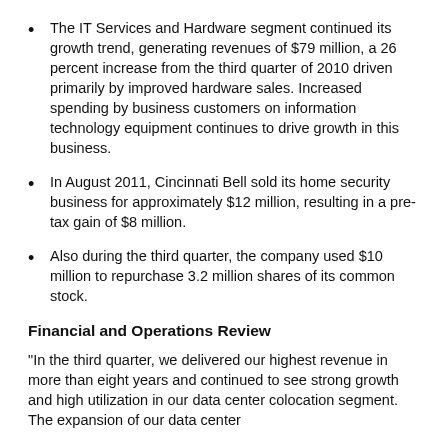The IT Services and Hardware segment continued its growth trend, generating revenues of $79 million, a 26 percent increase from the third quarter of 2010 driven primarily by improved hardware sales. Increased spending by business customers on information technology equipment continues to drive growth in this business.
In August 2011, Cincinnati Bell sold its home security business for approximately $12 million, resulting in a pre-tax gain of $8 million.
Also during the third quarter, the company used $10 million to repurchase 3.2 million shares of its common stock.
Financial and Operations Review
"In the third quarter, we delivered our highest revenue in more than eight years and continued to see strong growth and high utilization in our data center colocation segment. The expansion of our data center